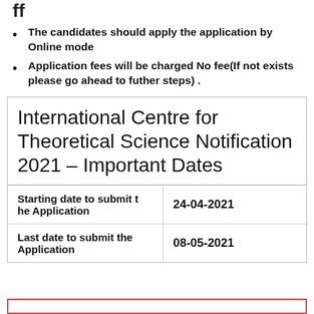The candidates should apply the application by Online mode
Application fees will be charged No fee(If not exists please go ahead to futher steps) .
International Centre for Theoretical Science Notification 2021 – Important Dates
|  |  |
| --- | --- |
| Starting date to submit the Application | 24-04-2021 |
| Last date to submit the Application | 08-05-2021 |